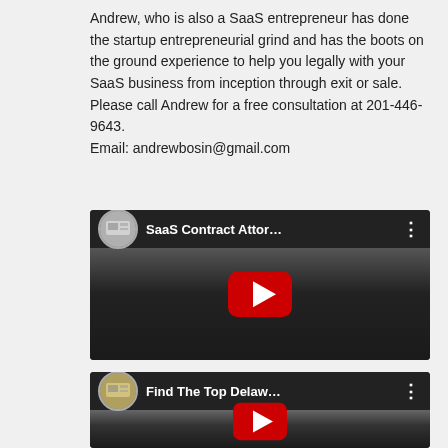Andrew, who is also a SaaS entrepreneur has done the startup entrepreneurial grind and has the boots on the ground experience to help you legally with your SaaS business from inception through exit or sale. Please call Andrew for a free consultation at 201-446-9643.
Email: andrewbosin@gmail.com
[Figure (screenshot): YouTube video thumbnail titled 'SaaS Contract Attor...' with a play button overlay, showing a man in the background]
[Figure (screenshot): YouTube video thumbnail titled 'Find The Top Delaw...' with a play button overlay, showing a man in the background]